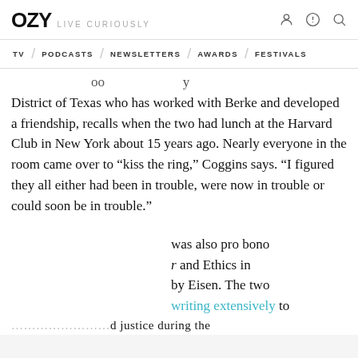OZY LIVE CURIOUSLY
TV / PODCASTS / NEWSLETTERS / AWARDS / FESTIVALS
oo ... y District of Texas who has worked with Berke and developed a friendship, recalls when the two had lunch at the Harvard Club in New York about 15 years ago. Nearly everyone in the room came over to “kiss the ring,” Coggins says. “I figured they all either had been in trouble, were now in trouble or could soon be in trouble.”
was also pro bono r and Ethics in by Eisen. The two writing extensively to ... d justice during the